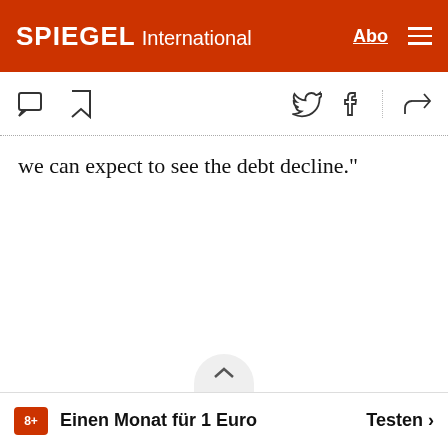SPIEGEL International
we can expect to see the debt decline."
Einen Monat für 1 Euro  Testen >